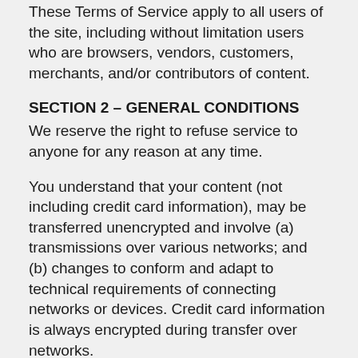These Terms of Service apply to all users of the site, including without limitation users who are browsers, vendors, customers, merchants, and/or contributors of content.
SECTION 2 – GENERAL CONDITIONS
We reserve the right to refuse service to anyone for any reason at any time.
You understand that your content (not including credit card information), may be transferred unencrypted and involve (a) transmissions over various networks; and (b) changes to conform and adapt to technical requirements of connecting networks or devices. Credit card information is always encrypted during transfer over networks.
You agree not to reproduce, duplicate, copy, sell, resell or exploit any portion of the Service, use of the Service, or access to the Service or any